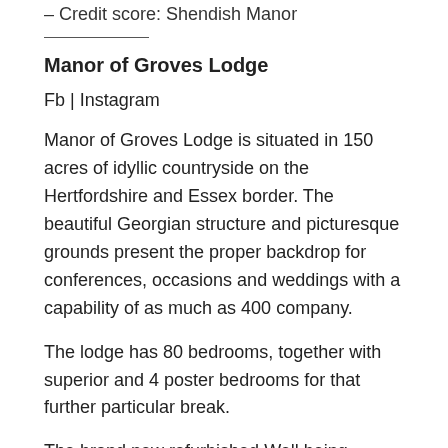– Credit score: Shendish Manor
Manor of Groves Lodge
Fb | Instagram
Manor of Groves Lodge is situated in 150 acres of idyllic countryside on the Hertfordshire and Essex border. The beautiful Georgian structure and picturesque grounds present the proper backdrop for conferences, occasions and weddings with a capability of as much as 400 company.
The lodge has 80 bedrooms, together with superior and 4 poster bedrooms for that further particular break.
The brand new refurbished Well being Membership gives